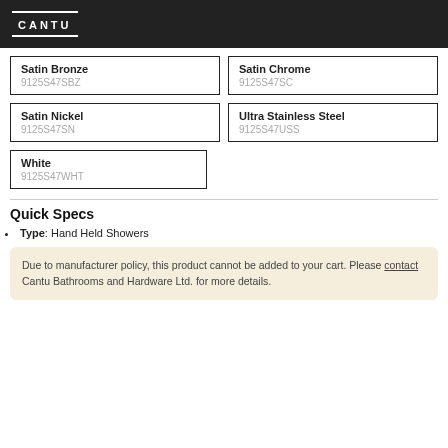CANTU
Satin Bronze
9125S47SBZ
Satin Chrome
9125S47SC
Satin Nickel
9125S47SN
Ultra Stainless Steel
9125S47USS
White
9125S47WHT
Quick Specs
Type: Hand Held Showers
Due to manufacturer policy, this product cannot be added to your cart. Please contact Cantu Bathrooms and Hardware Ltd. for more details.